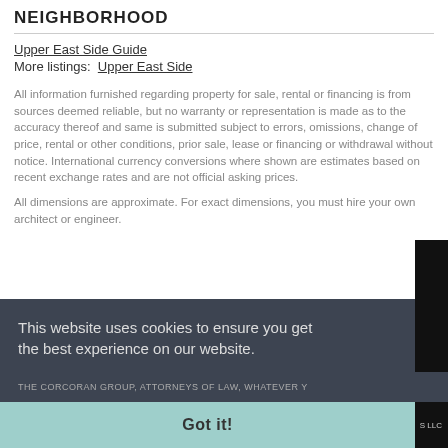NEIGHBORHOOD
Upper East Side Guide
More listings:  Upper East Side
All information furnished regarding property for sale, rental or financing is from sources deemed reliable, but no warranty or representation is made as to the accuracy thereof and same is submitted subject to errors, omissions, change of price, rental or other conditions, prior sale, lease or financing or withdrawal without notice. International currency conversions where shown are estimates based on recent exchange rates and are not official asking prices.
All dimensions are approximate. For exact dimensions, you must hire your own architect or engineer.
This website uses cookies to ensure you get the best experience on our website.
Privacy policy
Got it!